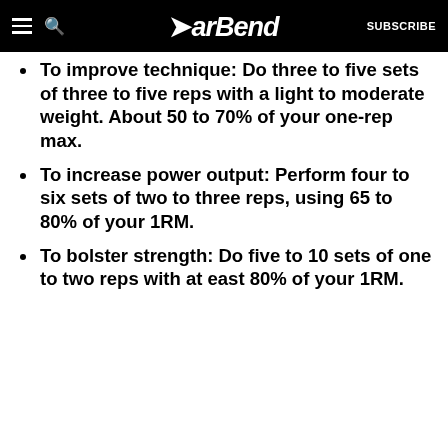BarBend | SUBSCRIBE
To improve technique: Do three to five sets of three to five reps with a light to moderate weight. About 50 to 70% of your one-rep max.
To increase power output: Perform four to six sets of two to three reps, using 65 to 80% of your 1RM.
To bolster strength: Do five to 10 sets of one to two reps with at east 80% of your 1RM.